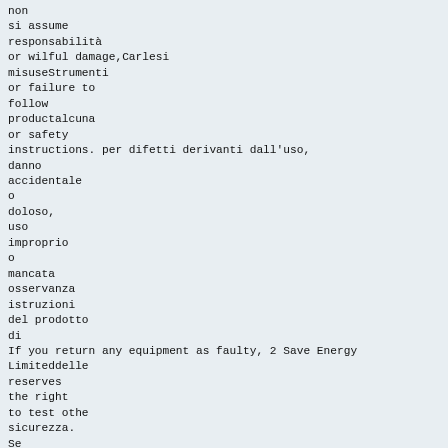non
si assume
responsabilità
or wilful damage,Carlesi
misuseStrumenti
or failure to
follow
productalcuna
or safety
instructions. per difetti derivanti dall'uso,
danno
accidentale
o
doloso,
uso
improprio
o
mancata
osservanza
istruzioni
del prodotto
di
If you return any equipment as faulty, 2 Save Energy
Limiteddelle
reserves
the right
to test othe
sicurezza.
Se
si
restituisce
qualsiasi
attrezzatura,